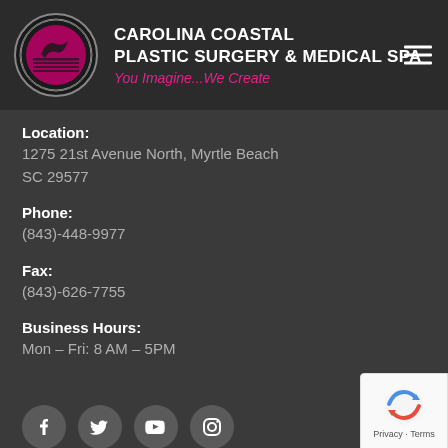CAROLINA COASTAL PLASTIC SURGERY & MEDICAL SPA
You Imagine...We Create
Location:
1275 21st Avenue North, Myrtle Beach
SC 29577
Phone:
(843)-448-9977
Fax:
(843)-626-7755
Business Hours:
Mon – Fri: 8 AM – 5PM
[Figure (other): Social media icons: Facebook, Twitter, YouTube, Instagram]
[Figure (other): reCAPTCHA badge with Privacy and Terms links]